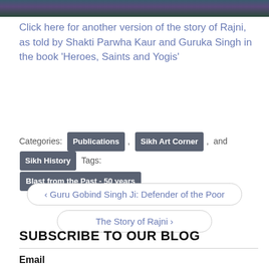[Figure (photo): Top portion of an artwork or photo with teal, purple, and green tones — cropped at the top of the page]
Click here for another version of the story of Rajni, as told by Shakti Parwha Kaur and Guruka Singh in the book ‘Heroes, Saints and Yogis’
Categories: Publications , Sikh Art Corner , and Sikh History Tags: Blast from the Past - 50 years
‹ Guru Gobind Singh Ji: Defender of the Poor
The Story of Rajni ›
SUBSCRIBE TO OUR BLOG
Email